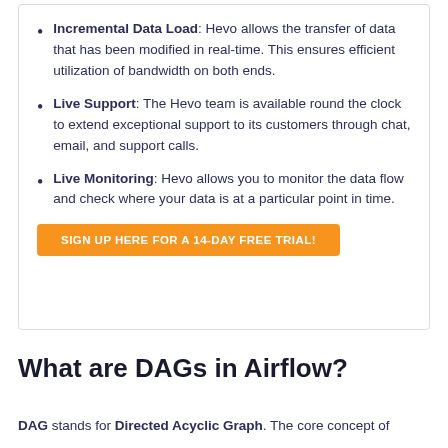Incremental Data Load: Hevo allows the transfer of data that has been modified in real-time. This ensures efficient utilization of bandwidth on both ends.
Live Support: The Hevo team is available round the clock to extend exceptional support to its customers through chat, email, and support calls.
Live Monitoring: Hevo allows you to monitor the data flow and check where your data is at a particular point in time.
SIGN UP HERE FOR A 14-DAY FREE TRIAL!
What are DAGs in Airflow?
DAG stands for Directed Acyclic Graph. The core concept of